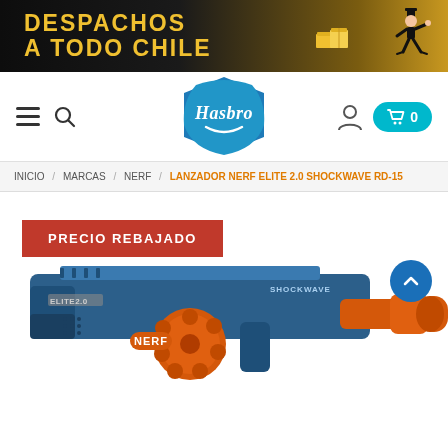[Figure (infographic): Hasbro Chile promotional banner: 'DESPACHOS A TODO CHILE' in gold text on dark background with delivery boxes icon and a running man character]
[Figure (logo): Hasbro logo — blue diamond/pillow shape with white Hasbro script text]
Navigation: hamburger menu, search icon, Hasbro logo, user icon, cart button with 0
INICIO / MARCAS / NERF / LANZADOR NERF ELITE 2.0 SHOCKWAVE RD-15
PRECIO REBAJADO
[Figure (photo): Nerf Elite 2.0 Shockwave RD-15 blaster toy — blue and orange plastic toy gun with rotating barrel drum]